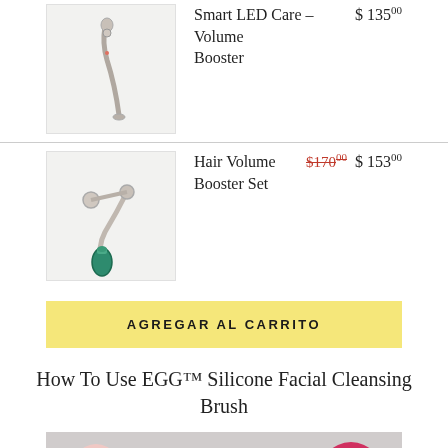[Figure (photo): Product photo of Smart LED Care - Volume Booster device, a slim metal tool on light background]
Smart LED Care – Volume Booster  $135.00
[Figure (photo): Product photo of Hair Volume Booster Set with a device and green serum bottle]
Hair Volume Booster Set  $170.00 $153.00
AGREGAR AL CARRITO
How To Use EGG™ Silicone Facial Cleansing Brush
[Figure (photo): Photo of multiple EGG silicone facial cleansing brushes in various colors: pink, black, yellow, and magenta/red, lined up on a light surface]